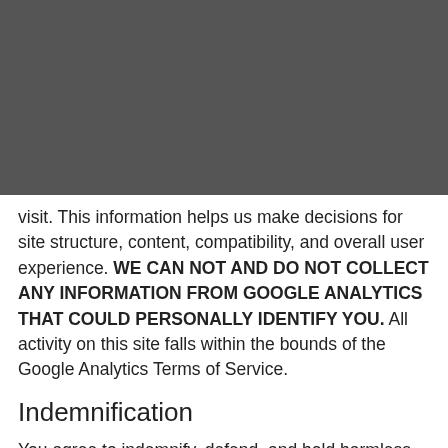The analytics data that Google collects and shares that visit our sites and what they do when they visit.
[Figure (logo): Red barn/house logo on dark gray background]
visit. This information helps us make decisions for site structure, content, compatibility, and overall user experience. WE CAN NOT AND DO NOT COLLECT ANY INFORMATION FROM GOOGLE ANALYTICS THAT COULD PERSONALLY IDENTIFY YOU. All activity on this site falls within the bounds of the Google Analytics Terms of Service.
Indemnification
You agree to indemnify, defend, and hold harmless The Barn at Kill Creek Farm, its affiliates and their respective owners, investors, contractors, officers,